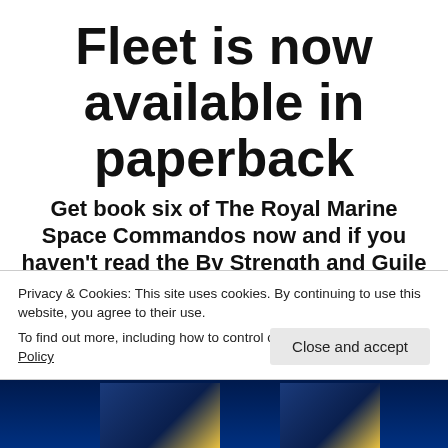Fleet is now available in paperback
Get book six of The Royal Marine Space Commandos now and if you haven't read the By Strength and Guile trilogy, it's now available in a one volume omnibus edition.
Privacy & Cookies: This site uses cookies. By continuing to use this website, you agree to their use.
To find out more, including how to control cookies, see here: Cookie Policy
[Figure (photo): Bottom strip showing book covers with dark blue background and yellow highlights]